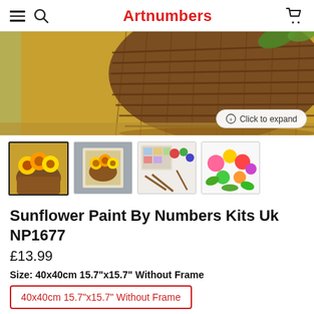Artnumbers
[Figure (photo): Close-up photo of a wicker basket on a wooden surface, partially cropped, with a 'Click to expand' button overlay]
[Figure (photo): Four product thumbnail images: sunflower bouquet in basket painting, framed sunflower painting, paint supplies/kit items, colorful flowers]
Sunflower Paint By Numbers Kits Uk NP1677
£13.99
Size: 40x40cm 15.7"x15.7" Without Frame
40x40cm 15.7"x15.7" Without Frame